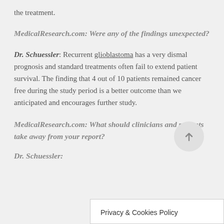the treatment.
MedicalResearch.com: Were any of the findings unexpected?
Dr. Schuessler: Recurrent glioblastoma has a very dismal prognosis and standard treatments often fail to extend patient survival. The finding that 4 out of 10 patients remained cancer free during the study period is a better outcome than we anticipated and encourages further study.
MedicalResearch.com: What should clinicians and patients take away from your report?
Dr. Schuessler:
Privacy & Cookies Policy